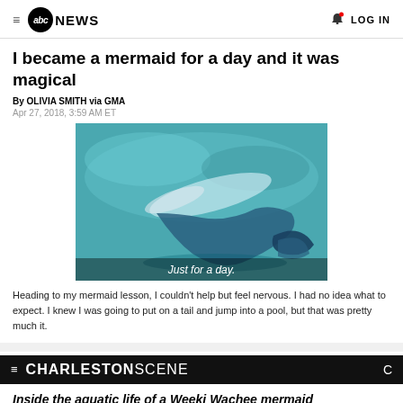≡ abc NEWS  🔔 LOG IN
I became a mermaid for a day and it was magical
By OLIVIA SMITH via GMA
Apr 27, 2018, 3:59 AM ET
[Figure (photo): Underwater photo of a person swimming with a mermaid tail in a pool. Caption overlay reads 'Just for a day.']
Heading to my mermaid lesson, I couldn't help but feel nervous. I had no idea what to expect. I knew I was going to put on a tail and jump into a pool, but that was pretty much it.
≡ CHARLESTON SCENE
Inside the aquatic life of a Weeki Wachee mermaid
By Kalyn Oyer koyer@postandcourier.com  Apr 5, 2018 Updated 3 hrs ago  💬 (0)
[Figure (photo): Photo of a person in a blue mermaid tail costume near water and rocks.]